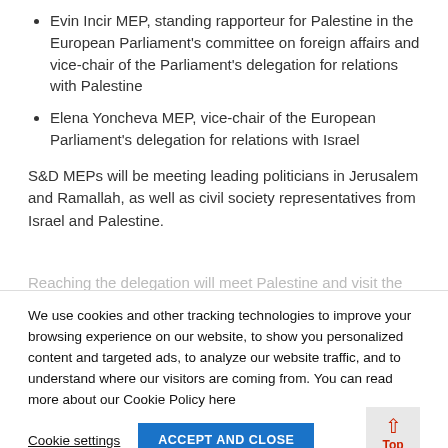Evin Incir MEP, standing rapporteur for Palestine in the European Parliament's committee on foreign affairs and vice-chair of the Parliament's delegation for relations with Palestine
Elena Yoncheva MEP, vice-chair of the European Parliament's delegation for relations with Israel
S&D MEPs will be meeting leading politicians in Jerusalem and Ramallah, as well as civil society representatives from Israel and Palestine.
We use cookies and other tracking technologies to improve your browsing experience on our website, to show you personalized content and targeted ads, to analyze our website traffic, and to understand where our visitors are coming from. You can read more about our Cookie Policy here